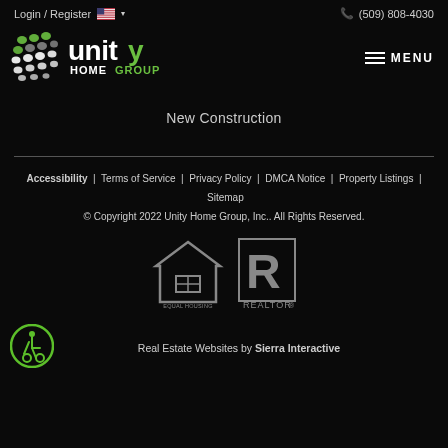Login / Register  (509) 808-4030
[Figure (logo): Unity Home Group logo with geometric dot pattern and green/white text]
MENU
New Construction
Accessibility | Terms of Service | Privacy Policy | DMCA Notice | Property Listings | Sitemap
© Copyright 2022 Unity Home Group, Inc.. All Rights Reserved.
[Figure (logo): Equal Housing Opportunity logo]
[Figure (logo): REALTOR® logo]
[Figure (logo): Accessibility icon - wheelchair user in green circle]
Real Estate Websites by Sierra Interactive